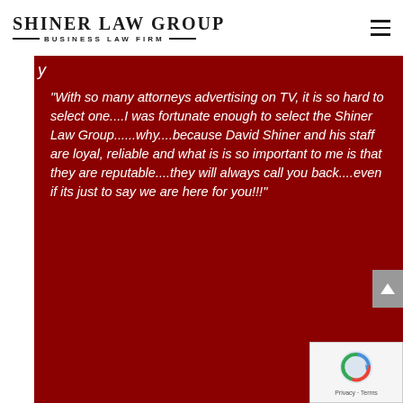SHINER LAW GROUP — BUSINESS LAW FIRM
"With so many attorneys advertising on TV, it is so hard to select one....I was fortunate enough to select the Shiner Law Group......why....because David Shiner and his staff are loyal, reliable and what is is so important to me is that they are reputable....they will always call you back....even if its just to say we are here for you!!!"